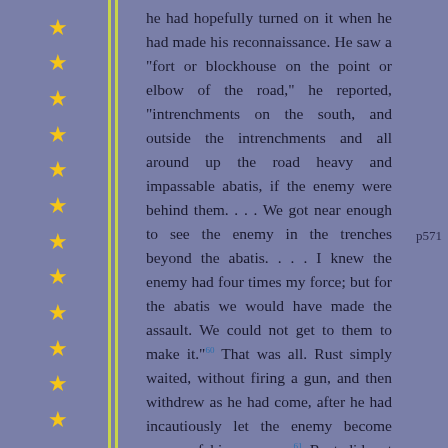he had hopefully turned on it when he had made his reconnaissance. He saw a "fort or blockhouse on the point or elbow of the road," he reported, "intrenchments on the south, and outside the intrenchments and all around up the road heavy and impassable abatis, if the enemy were behind them. . . . We got near enough to see the enemy in the trenches beyond the abatis. . . . I knew the enemy had four times my force; but for the abatis we would have made the assault. We could not get to them to make it." 60 That was all. Rust simply waited, without firing a gun, and then withdrew as he had come, after he had incautiously let the enemy become aware of his presence. 61 Rust did not know, and it is likely he never learned that instead of "4000 to 5000 men," a force "four times [his] strength," as he reported, the troops on
p571